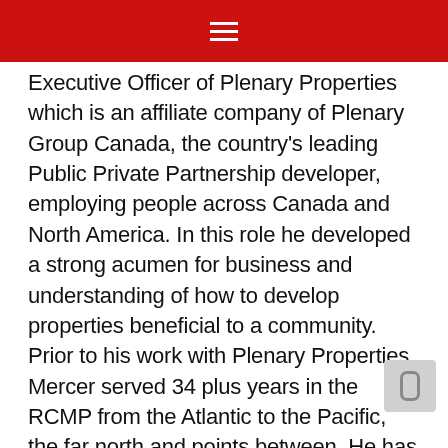Executive Officer of Plenary Properties which is an affiliate company of Plenary Group Canada, the country's leading Public Private Partnership developer, employing people across Canada and North America. In this role he developed a strong acumen for business and understanding of how to develop properties beneficial to a community. Prior to his work with Plenary Properties, Mercer served 34 plus years in the RCMP from the Atlantic to the Pacific, the far north and points between. He has extensive policing experience at the municipal, provincial, federal and international levels. In his last 10 years with the RCMP Mercer served in Command and Executive levels and represented the RCMP while working in the United States, Europe, Asia and Australia. In